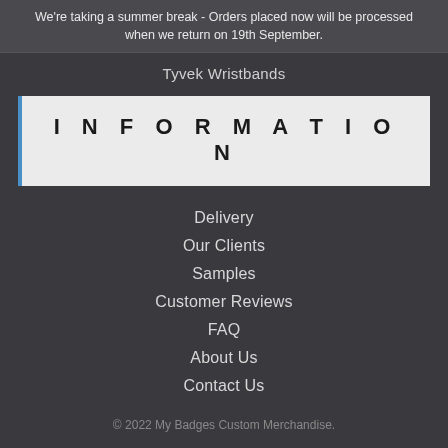We're taking a summer break - Orders placed now will be processed when we return on 19th September.
Tyvek Wristbands
INFORMATION
Delivery
Our Clients
Samples
Customer Reviews
FAQ
About Us
Contact Us
© 2022 My Badges Custom Merchandise.